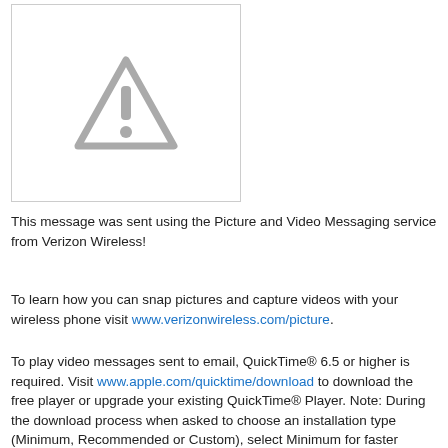[Figure (other): A placeholder image box with a gray warning/caution triangle icon (exclamation mark inside triangle) indicating an image that could not be loaded.]
This message was sent using the Picture and Video Messaging service from Verizon Wireless!
To learn how you can snap pictures and capture videos with your wireless phone visit www.verizonwireless.com/picture.
To play video messages sent to email, QuickTime® 6.5 or higher is required. Visit www.apple.com/quicktime/download to download the free player or upgrade your existing QuickTime® Player. Note: During the download process when asked to choose an installation type (Minimum, Recommended or Custom), select Minimum for faster download.